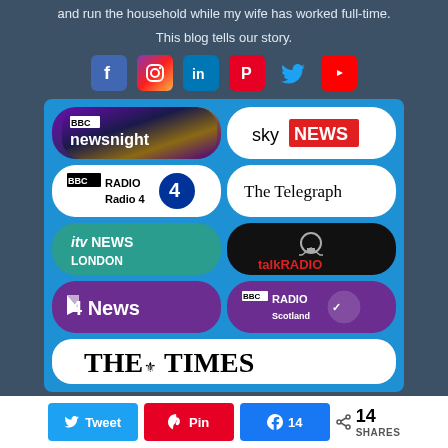and run the household while my wife has worked full-time. This blog tells our story.
[Figure (infographic): Social media icons: Facebook, Instagram, LinkedIn, Pinterest, Twitter, YouTube]
[Figure (infographic): Media logos grid: BBC Newsnight, Sky News, BBC Radio 4, The Telegraph, ITV News London, talkRADIO, Channel 4 News, BBC Radio Scotland, The Times]
[Figure (infographic): Bottom share bar with Twitter, Pinterest, Facebook share buttons and 14 total shares]